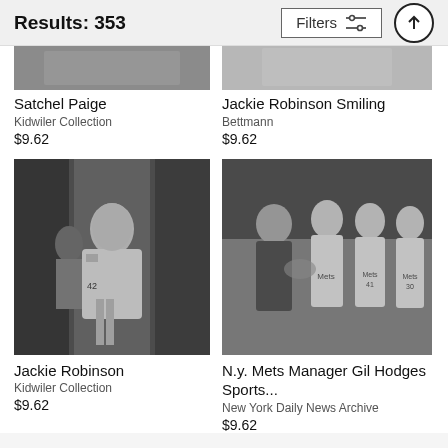Results: 353
Satchel Paige
Kidwiler Collection
$9.62
Jackie Robinson Smiling
Bettmann
$9.62
[Figure (photo): Black and white photo of Jackie Robinson in Dodgers #42 uniform walking through a tunnel]
Jackie Robinson
Kidwiler Collection
$9.62
[Figure (photo): Black and white photo of N.Y. Mets Manager Gil Hodges with Mets players #41 and #30]
N.y. Mets Manager Gil Hodges Sports...
New York Daily News Archive
$9.62